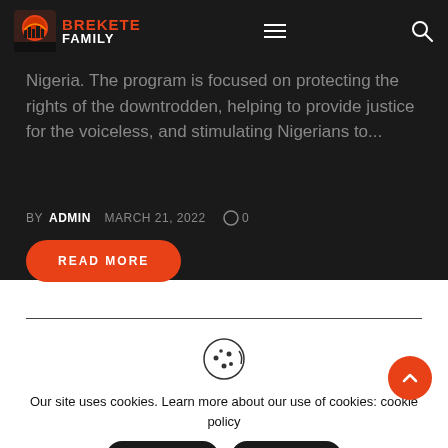Brekete Family
Nigeria. The program is focused on protecting the rights of the downtrodden, helping to provide justice for the voiceless, and stimulating Nigerians to...
BY ADMIN   MARCH 21, 2022   0
READ MORE
Our site uses cookies. Learn more about our use of cookies: cookie policy
ACCEPT
REJECT